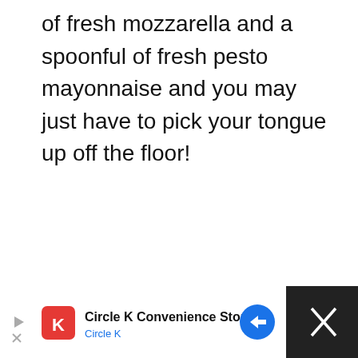of fresh mozzarella and a spoonful of fresh pesto mayonnaise and you may just have to pick your tongue up off the floor!
[Figure (screenshot): Image slideshow area with a light gray background, social interaction buttons (heart/like and share), a 'What's Next' thumbnail for KFC Gravy Recipe, and dot navigation indicators]
[Figure (screenshot): Advertisement bar at the bottom: Circle K Convenience Store ad with red Circle K logo, blue navigation arrow icon, and a dark close (X) button on the right]